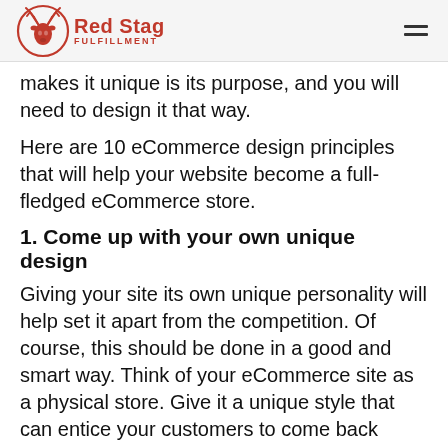Red Stag Fulfillment
makes it unique is its purpose, and you will need to design it that way.
Here are 10 eCommerce design principles that will help your website become a full-fledged eCommerce store.
1. Come up with your own unique design
Giving your site its own unique personality will help set it apart from the competition. Of course, this should be done in a good and smart way. Think of your eCommerce site as a physical store. Give it a unique style that can entice your customers to come back again and again. Make visiting your eCommerce business an experience in itself.